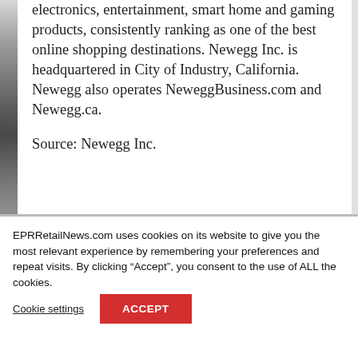electronics, entertainment, smart home and gaming products, consistently ranking as one of the best online shopping destinations. Newegg Inc. is headquartered in City of Industry, California. Newegg also operates NeweggBusiness.com and Newegg.ca.
Source: Newegg Inc.
EPRRetailNews.com uses cookies on its website to give you the most relevant experience by remembering your preferences and repeat visits. By clicking “Accept”, you consent to the use of ALL the cookies.
Cookie settings
ACCEPT